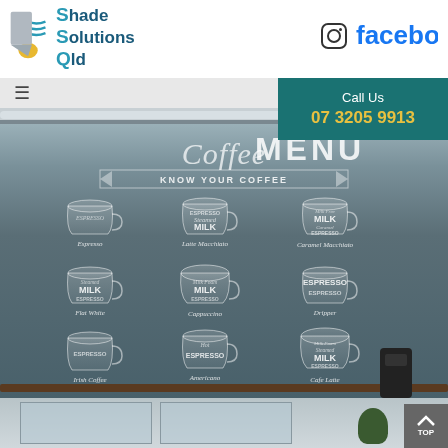[Figure (logo): Shade Solutions Qld logo with wave/shade graphic and text]
[Figure (logo): Instagram icon]
[Figure (logo): Facebook logo in blue]
Call Us
07 3205 9913
[Figure (photo): Photo of a roller blind printed with a coffee menu chalkboard design showing 'Coffee Menu - Know Your Coffee' with illustrated coffee cups including Espresso, Latte Macchiato, Caramel Macchiato, Flat White, Cappuccino, Dripper, Irish Coffee, Americano, Cafe Latte]